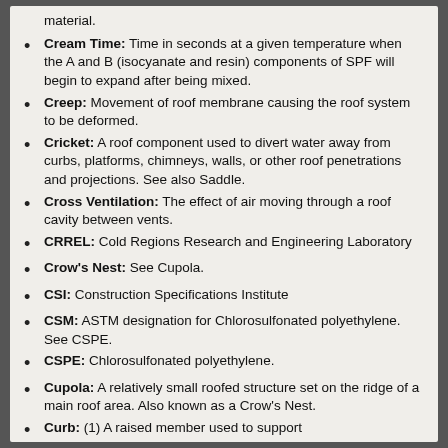material.
Cream Time: Time in seconds at a given temperature when the A and B (isocyanate and resin) components of SPF will begin to expand after being mixed.
Creep: Movement of roof membrane causing the roof system to be deformed.
Cricket: A roof component used to divert water away from curbs, platforms, chimneys, walls, or other roof penetrations and projections. See also Saddle.
Cross Ventilation: The effect of air moving through a roof cavity between vents.
CRREL: Cold Regions Research and Engineering Laboratory
Crow's Nest: See Cupola.
CSI: Construction Specifications Institute
CSM: ASTM designation for Chlorosulfonated polyethylene. See CSPE.
CSPE: Chlorosulfonated polyethylene.
Cupola: A relatively small roofed structure set on the ridge of a main roof area. Also known as a Crow's Nest.
Curb: (1) A raised member used to support...